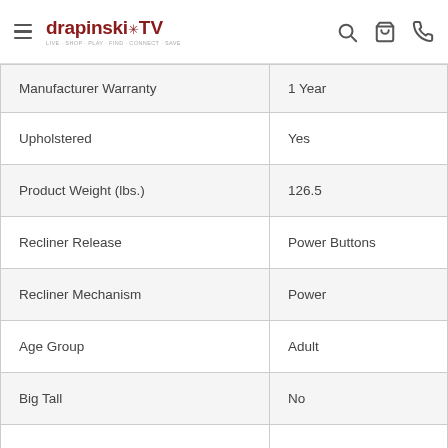drapinski TV [hamburger menu, search, cart, phone icons]
| Attribute | Value |
| --- | --- |
| Manufacturer Warranty | 1 Year |
| Upholstered | Yes |
| Product Weight (lbs.) | 126.5 |
| Recliner Release | Power Buttons |
| Recliner Mechanism | Power |
| Age Group | Adult |
| Big Tall | No |